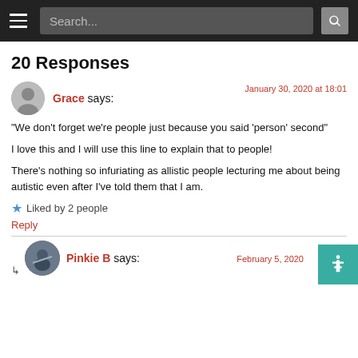Search...
20 Responses
Grace says: January 30, 2020 at 18:01
"We don't forget we're people just because you said 'person' second"

I love this and I will use this line to explain that to people!

There's nothing so infuriating as allistic people lecturing me about being autistic even after I've told them that I am.
Liked by 2 people
Reply
Pinkie B says: February 5, 2020